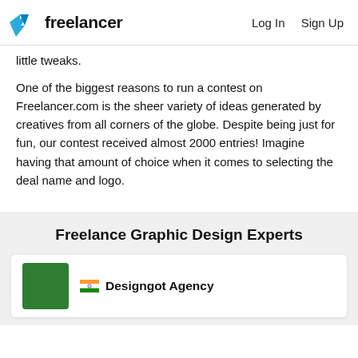Freelancer | Log In  Sign Up
little tweaks.
One of the biggest reasons to run a contest on Freelancer.com is the sheer variety of ideas generated by creatives from all corners of the globe. Despite being just for fun, our contest received almost 2000 entries! Imagine having that amount of choice when it comes to selecting the deal name and logo.
Freelance Graphic Design Experts
Designgot Agency